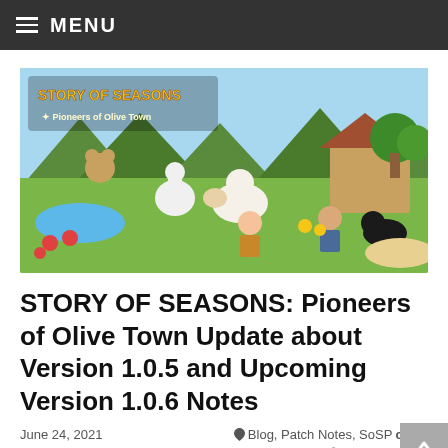MENU
[Figure (illustration): Story of Seasons: Pioneers of Olive Town game banner showing cartoon farm animals, characters, and a colorful outdoor farm scene with the game logo in the top left.]
STORY OF SEASONS: Pioneers of Olive Town Update about Version 1.0.5 and Upcoming Version 1.0.6 Notes
June 24, 2021    Blog, Patch Notes, SoSPoOT, STORY OF SEASONS    XSEEDGames